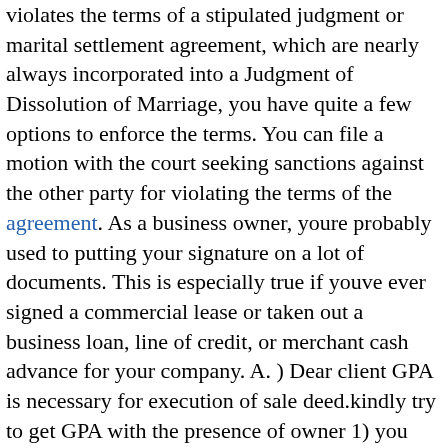violates the terms of a stipulated judgment or marital settlement agreement, which are nearly always incorporated into a Judgment of Dissolution of Marriage, you have quite a few options to enforce the terms. You can file a motion with the court seeking sanctions against the other party for violating the terms of the agreement. As a business owner, youre probably used to putting your signature on a lot of documents. This is especially true if youve ever signed a commercial lease or taken out a business loan, line of credit, or merchant cash advance for your company. A. ) Dear client GPA is necessary for execution of sale deed.kindly try to get GPA with the presence of owner 1) you can execute sale deed in favour of third party if it is an irrevocable power of attorney coupled with consideration 3) on basis of GPA sale deed can be executed by the society 3) In Harbans Singh v. Shanti Devi, 1977 RLR 487, the seller had executed an agreement to sell in favour of the purchaser and the General Power of Attorney in favour of her husband. The General Power of Attorney was stated to be irrevocable and it authorized the attorney to further sell the subject property. The seller later cancelled the agreement to sell and all other documents including the General Power of Attorney. The Trial Court held the General